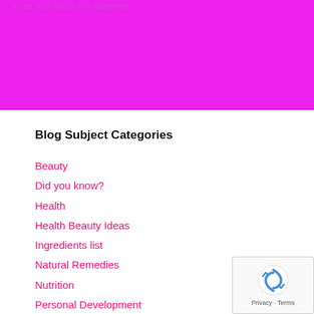to do and worth the patience.
Blog Subject Categories
Beauty
Did you know?
Health
Health Beauty Ideas
Ingredients list
Natural Remedies
Nutrition
Personal Development
Science
Spirituality